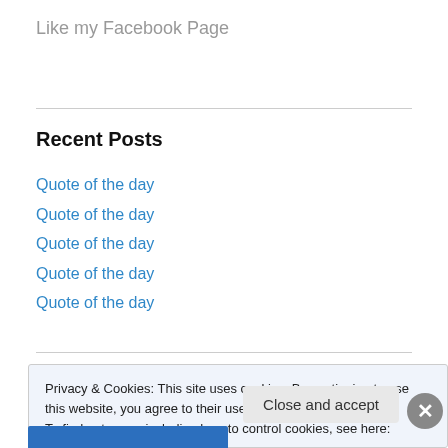Like my Facebook Page
Recent Posts
Quote of the day
Quote of the day
Quote of the day
Quote of the day
Quote of the day
Privacy & Cookies: This site uses cookies. By continuing to use this website, you agree to their use.
To find out more, including how to control cookies, see here: Cookie Policy
Close and accept